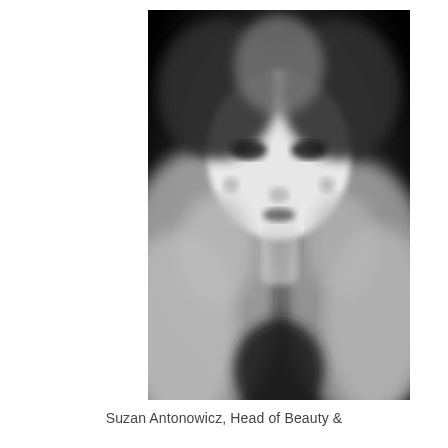[Figure (photo): Black and white blurred portrait photo of a woman with long blonde hair, facing the camera, with a dark background. A pink/magenta circular email icon button overlays the bottom-right corner of the photo.]
Suzan Antonowicz, Head of Beauty &